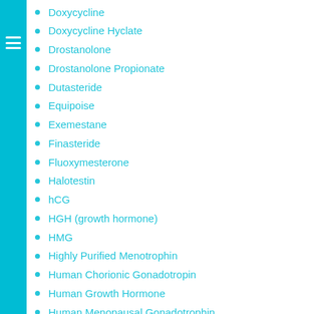Doxycycline
Doxycycline Hyclate
Drostanolone
Drostanolone Propionate
Dutasteride
Equipoise
Exemestane
Finasteride
Fluoxymesterone
Halotestin
hCG
HGH (growth hormone)
HMG
Highly Purified Menotrophin
Human Chorionic Gonadotropin
Human Growth Hormone
Human Menopausal Gonadotrophin
Insulin (Regular Insulin Human)
Isotretinoin
Letrozole
Liothyronine (T3 steroid)
Liothyronine Sodium